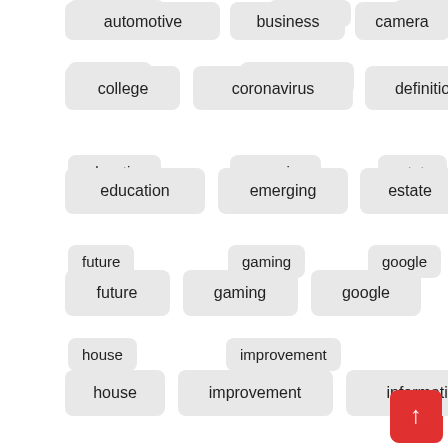automotive
business
camera
change
college
coronavirus
definition
education
emerging
estate
fashion
future
gaming
google
health
house
improvement
information
institute
journal
latest
leisure
modern
online
research
satelite
science
sciences
scitech
small
smartphone
smartphones
solutions
technologies
technology
today
tra...
trends
university
updates
world